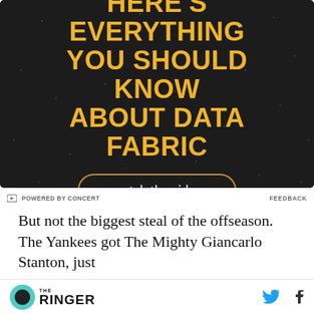[Figure (infographic): Dark background advertisement banner with gold bold text reading 'HERE'S EVERYTHING YOU SHOULD KNOW ABOUT DATA FABRIC' and a rounded button labeled 'watch the video' in italic white text with gold border.]
POWERED BY CONCERT
FEEDBACK
But not the biggest steal of the offseason. The Yankees got The Mighty Giancarlo Stanton, just
THE RINGER